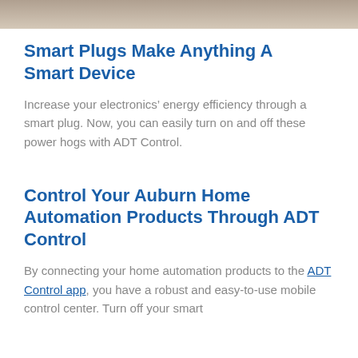[Figure (photo): Partial photo strip at top of page, showing a blurred background image]
Smart Plugs Make Anything A Smart Device
Increase your electronics’ energy efficiency through a smart plug. Now, you can easily turn on and off these power hogs with ADT Control.
Control Your Auburn Home Automation Products Through ADT Control
By connecting your home automation products to the ADT Control app, you have a robust and easy-to-use mobile control center. Turn off your smart